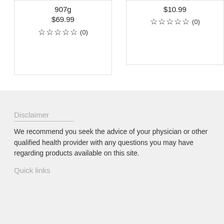907g
$69.99
[Figure (other): 5 empty star rating icons with (0) review count]
$10.99
[Figure (other): 5 empty star rating icons with (0) review count]
Disclaimer
We recommend you seek the advice of your physician or other qualified health provider with any questions you may have regarding products available on this site.
Quick links